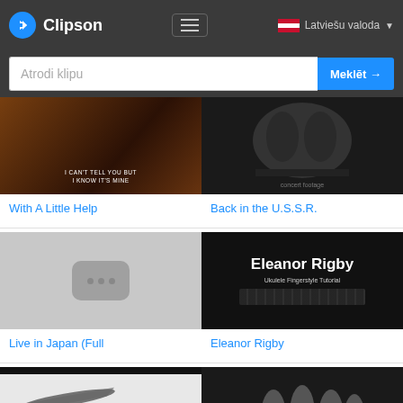Clipson
Atrodi klipu
Meklēt →
[Figure (screenshot): Video thumbnail for 'With A Little Help' - dark warm-toned concert footage with text overlay 'I CAN'T TELL YOU BUT I KNOW IT'S MINE']
With A Little Help
[Figure (screenshot): Video thumbnail for 'Back in the U.S.S.R.' - black and white concert/performance footage]
Back in the U.S.S.R.
[Figure (screenshot): Video thumbnail placeholder with YouTube-style three-dot icon on grey background]
Live in Japan (Full
[Figure (screenshot): Video thumbnail for 'Eleanor Rigby' Ukulele Fingerstyle Tutorial - dark background with bold white text]
Eleanor Rigby
[Figure (screenshot): Video thumbnail for 'Back in the U.S.S.R.' vevo - light grey with airplane silhouette and handwritten text]
[Figure (screenshot): Video thumbnail - black and white concert photograph of band performing on stage]